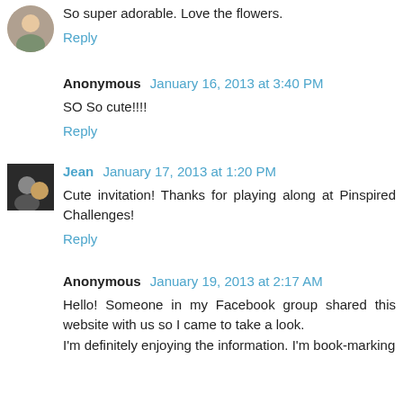So super adorable. Love the flowers.
Reply
Anonymous January 16, 2013 at 3:40 PM
SO So cute!!!!
Reply
Jean January 17, 2013 at 1:20 PM
Cute invitation! Thanks for playing along at Pinspired Challenges!
Reply
Anonymous January 19, 2013 at 2:17 AM
Hello! Someone in my Facebook group shared this website with us so I came to take a look.
I'm definitely enjoying the information. I'm book-marking